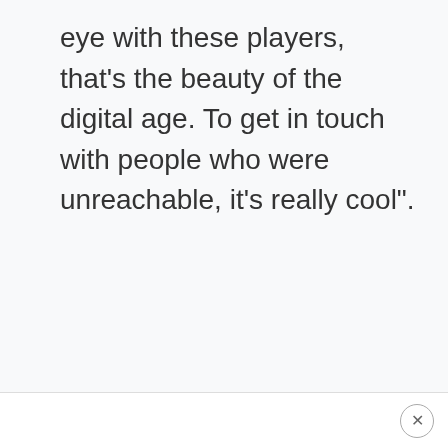eye with these players, that’s the beauty of the digital age. To get in touch with people who were unreachable, it’s really cool”.